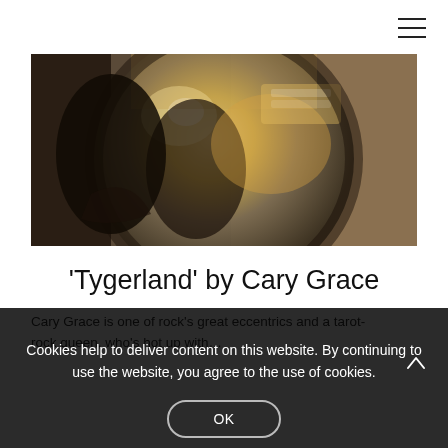[Figure (photo): A person reflected in a large metallic disco ball or reflective sphere, studio equipment visible in reflection, warm gold tones]
'Tygerland' by Cary Grace
Cary Grace is one of rock's great eccentrics and a tarot-rock queen, who's hot up with…
Cookies help to deliver content on this website. By continuing to use the website, you agree to the use of cookies.